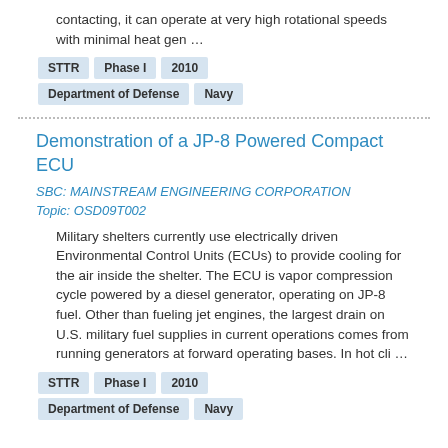contacting, it can operate at very high rotational speeds with minimal heat gen …
STTR | Phase I | 2010
Department of Defense | Navy
Demonstration of a JP-8 Powered Compact ECU
SBC: MAINSTREAM ENGINEERING CORPORATION
Topic: OSD09T002
Military shelters currently use electrically driven Environmental Control Units (ECUs) to provide cooling for the air inside the shelter. The ECU is vapor compression cycle powered by a diesel generator, operating on JP-8 fuel. Other than fueling jet engines, the largest drain on U.S. military fuel supplies in current operations comes from running generators at forward operating bases. In hot cli …
STTR | Phase I | 2010
Department of Defense | Navy